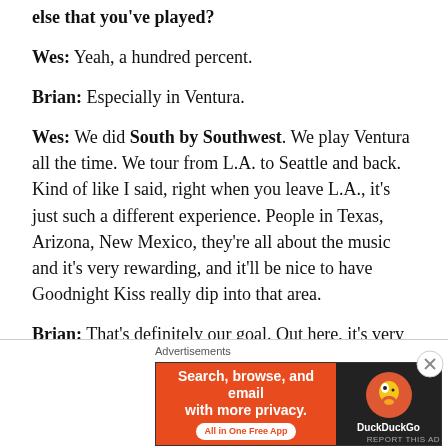else that you've played?
Wes: Yeah, a hundred percent.
Brian: Especially in Ventura.
Wes: We did South by Southwest. We play Ventura all the time. We tour from L.A. to Seattle and back. Kind of like I said, right when you leave L.A., it's just such a different experience. People in Texas, Arizona, New Mexico, they're all about the music and it's very rewarding, and it'll be nice to have Goodnight Kiss really dip into that area.
Brian: That's definitely our goal. Out here, it's very much
[Figure (screenshot): DuckDuckGo advertisement banner: orange left panel with text 'Search, browse, and email with more privacy. All in One Free App' and dark right panel with DuckDuckGo logo and name.]